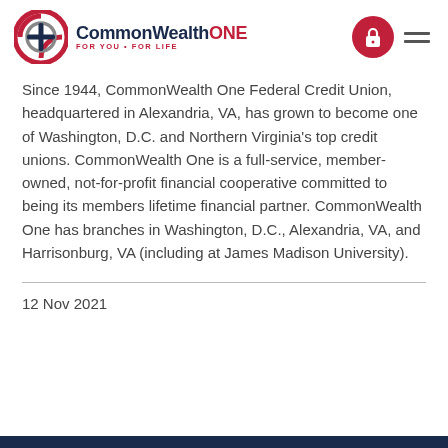CommonWealthONE FOR YOU • FOR LIFE
Since 1944, CommonWealth One Federal Credit Union, headquartered in Alexandria, VA, has grown to become one of Washington, D.C. and Northern Virginia's top credit unions. CommonWealth One is a full-service, member-owned, not-for-profit financial cooperative committed to being its members lifetime financial partner. CommonWealth One has branches in Washington, D.C., Alexandria, VA, and Harrisonburg, VA (including at James Madison University).
12 Nov 2021